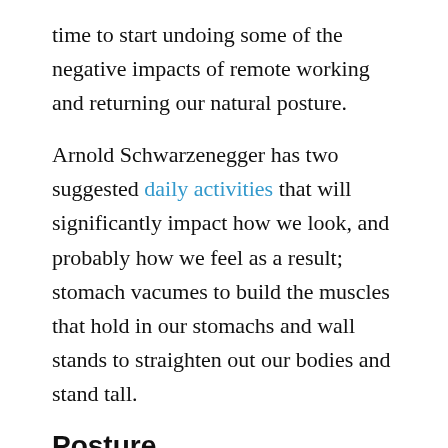time to start undoing some of the negative impacts of remote working and returning our natural posture.
Arnold Schwarzenegger has two suggested daily activities that will significantly impact how we look, and probably how we feel as a result; stomach vacumes to build the muscles that hold in our stomachs and wall stands to straighten out our bodies and stand tall.
Posture
Arnold suggests we spend five minutes daily standing with our back to a wall. Your feet should be a couple of inches away from the wall, you should stand tall imagining a cord being pulled up from the crown of your head, and you should have three points of contact